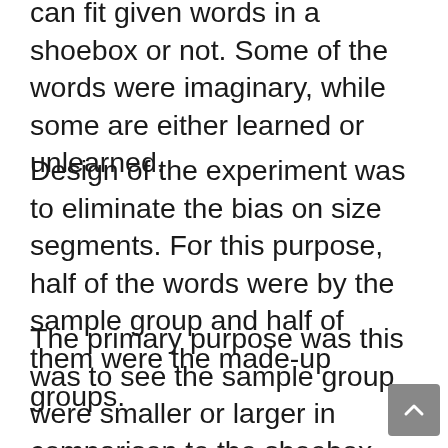can fit given words in a shoebox or not. Some of the words were imaginary, while some are either learned or unlearned.
Design of the experiment was to eliminate the bias on size segments. For this purpose, half of the words were by the sample group and half of them were the made-up groups.
The primary purpose was this was to see the sample group were smaller or larger in comparison to the shoebox. This same procedure was followed with the other set of words as well.